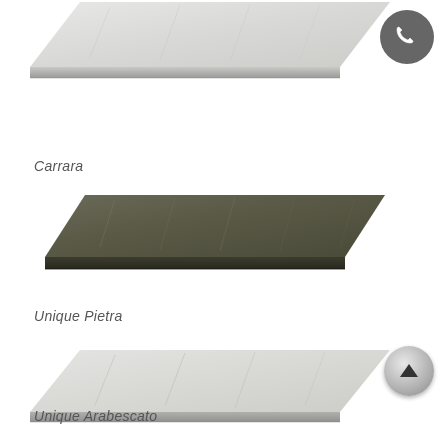[Figure (illustration): Parallelogram-shaped slab of white/light grey Carrara stone material with subtle veining, shown in perspective top view]
Carrara
[Figure (illustration): Parallelogram-shaped slab of dark olive/charcoal Unique Pietra stone material with subtle veining, shown in perspective top view]
Unique Pietra
[Figure (illustration): Parallelogram-shaped slab of white/light Unique Arabescato stone material with subtle grey veining, shown in perspective top view]
Unique Arabescato